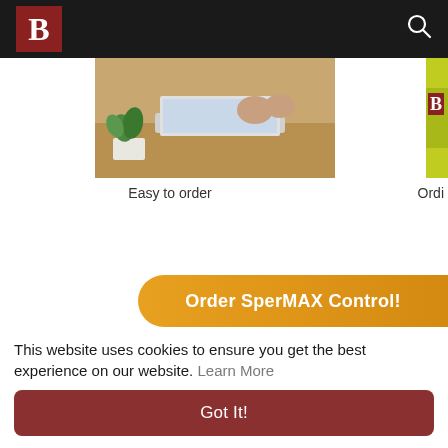B [logo] [search icon]
[Figure (photo): Partial view of a photo showing a potted plant and laptop on a wooden desk, with another partially visible image at right edge]
Easy to order
Ordi
Order SperMAX Control!
Click Here To Buy SperMAX
This website uses cookies to ensure you get the best experience on our website. Learn More
Got It!